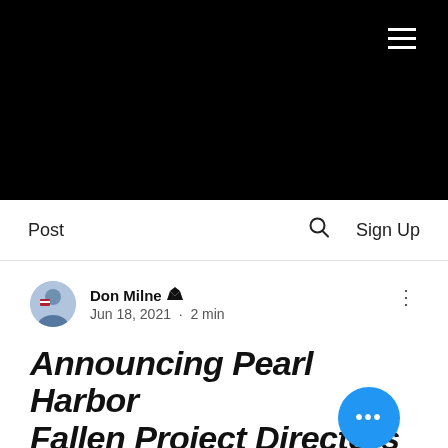[Figure (photo): Black hero image with hamburger menu icon (three white horizontal lines) in the upper right corner]
Post   🔍   Sign Up
Don Milne 👑
Jun 18, 2021 · 2 min
Announcing Pearl Harbor Fallen Project Directors